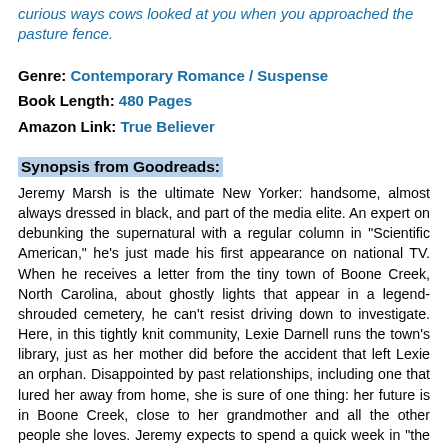curious ways cows looked at you when you approached the pasture fence.
Genre: Contemporary Romance / Suspense
Book Length: 480 Pages
Amazon Link: True Believer
Synopsis from Goodreads:
Jeremy Marsh is the ultimate New Yorker: handsome, almost always dressed in black, and part of the media elite. An expert on debunking the supernatural with a regular column in "Scientific American," he's just made his first appearance on national TV. When he receives a letter from the tiny town of Boone Creek, North Carolina, about ghostly lights that appear in a legend-shrouded cemetery, he can't resist driving down to investigate. Here, in this tightly knit community, Lexie Darnell runs the town's library, just as her mother did before the accident that left Lexie an orphan. Disappointed by past relationships, including one that lured her away from home, she is sure of one thing: her future is in Boone Creek, close to her grandmother and all the other people she loves. Jeremy expects to spend a quick week in "the sticks" before speeding back to the city. But from the moment he sets eyes on Lexie, he is intrigued and attracted to this beautiful woman